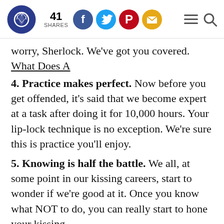41 SHARES [social icons: Facebook, Twitter, Pinterest, Email] [hamburger menu] [search]
worry, Sherlock. We've got you covered. What Does A
4. Practice makes perfect. Now before you get offended, it's said that we become expert at a task after doing it for 10,000 hours. Your lip-lock technique is no exception. We're sure this is practice you'll enjoy.
5. Knowing is half the battle. We all, at some point in our kissing careers, start to wonder if we're good at it. Once you know what NOT to do, you can really start to hone your kissing